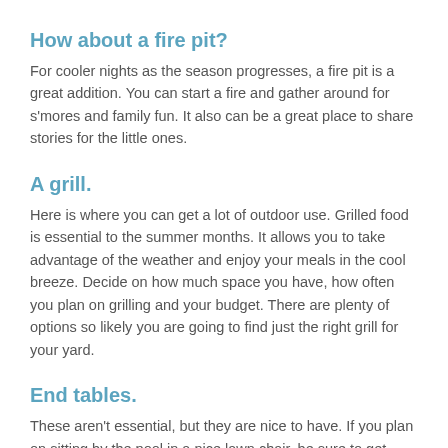How about a fire pit?
For cooler nights as the season progresses, a fire pit is a great addition. You can start a fire and gather around for s'mores and family fun. It also can be a great place to share stories for the little ones.
A grill.
Here is where you can get a lot of outdoor use. Grilled food is essential to the summer months. It allows you to take advantage of the weather and enjoy your meals in the cool breeze. Decide on how much space you have, how often you plan on grilling and your budget. There are plenty of options so likely you are going to find just the right grill for your yard.
End tables.
These aren't essential, but they are nice to have. If you plan on sitting by the pool in a nice lawn chair, be sure to get